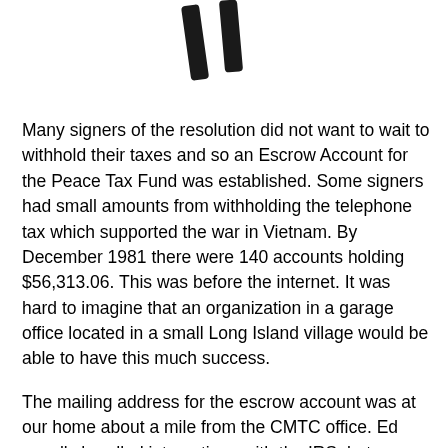[Figure (illustration): Large decorative quotation mark symbol (double tick marks) shown at top of page]
Many signers of the resolution did not want to wait to withhold their taxes and so an Escrow Account for the Peace Tax Fund was established. Some signers had small amounts from withholding the telephone tax which supported the war in Vietnam. By December 1981 there were 140 accounts holding $56,313.06. This was before the internet. It was hard to imagine that an organization in a garage office located in a small Long Island village would be able to have this much success.
The mailing address for the escrow account was at our home about a mile from the CMTC office. Ed usually handled interactions with the IRS, but one day he wasn't home and I was outside when a car pulled into the end of the driveway. Three tall men got out of the car and approached me. They wanted me to give them money from some escrow accounts.